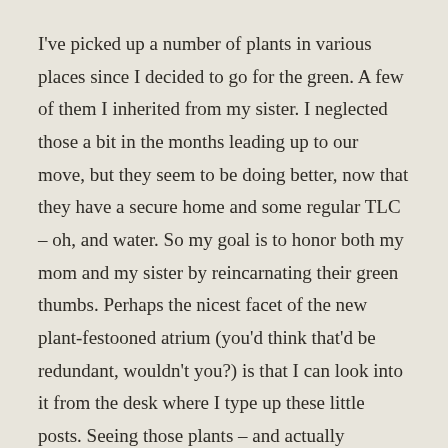I've picked up a number of plants in various places since I decided to go for the green. A few of them I inherited from my sister. I neglected those a bit in the months leading up to our move, but they seem to be doing better, now that they have a secure home and some regular TLC – oh, and water. So my goal is to honor both my mom and my sister by reincarnating their green thumbs. Perhaps the nicest facet of the new plant-festooned atrium (you'd think that'd be redundant, wouldn't you?) is that I can look into it from the desk where I type up these little posts. Seeing those plants – and actually stepping down into that space – makes me happy every time. Imagine how delighted I'll be if I can actually keep them alive. Wish all of us luck!